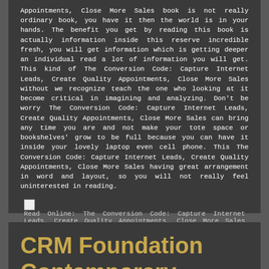Appointments, Close More Sales book is not really ordinary book, you have it then the world is in your hands. The benefit you get by reading this book is actually information inside this reserve incredible fresh, you will get information which is getting deeper an individual read a lot of information you will get. This kind of The Conversion Code: Capture Internet Leads, Create Quality Appointments, Close More Sales without we recognize teach the one who looking at it become critical in imagining and analyzing. Don't be worry The Conversion Code: Capture Internet Leads, Create Quality Appointments, Close More Sales can bring any time you are and not make your tote space or bookshelves' grow to be full because you can have it inside your lovely laptop even cell phone. This The Conversion Code: Capture Internet Leads, Create Quality Appointments, Close More Sales having great arrangement in word and layout, so you will not really feel uninterested in reading.
[Figure (other): Broken image icon followed by text: Read Online: The Conversion Code: Capture Internet Leads, Create Quality Appointments, Close More Sales PDF]
CRM Foundation Contemporary